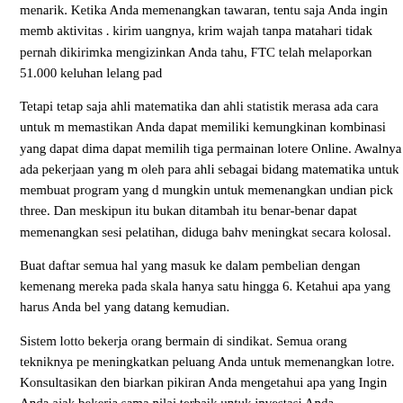menarik. Ketika Anda memenangkan tawaran, tentu saja Anda ingin memb aktivitas . kirim uangnya, krim wajah tanpa matahari tidak pernah dikirimka mengizinkan Anda tahu, FTC telah melaporkan 51.000 keluhan lelang pad
Tetapi tetap saja ahli matematika dan ahli statistik merasa ada cara untuk memastikan Anda dapat memiliki kemungkinan kombinasi yang dapat dima dapat memilih tiga permainan lotere Online. Awalnya ada pekerjaan yang oleh para ahli sebagai bidang matematika untuk membuat program yang d mungkin untuk memenangkan undian pick three. Dan meskipun itu bukan ditambah itu benar-benar dapat memenangkan sesi pelatihan, diduga bah meningkat secara kolosal.
Buat daftar semua hal yang masuk ke dalam pembelian dengan kemenang mereka pada skala hanya satu hingga 6. Ketahui apa yang harus Anda bel yang datang kemudian.
Sistem lotto bekerja orang bermain di sindikat. Semua orang tekniknya pe meningkatkan peluang Anda untuk memenangkan lotre. Konsultasikan den biarkan pikiran Anda mengetahui apa yang Ingin Anda ajak bekerja sama nilai terbaik untuk investasi Anda.
FILED UNDER: UNCATEGORIZED ·